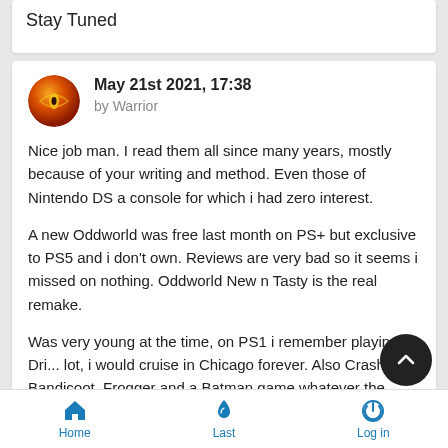Stay Tuned
May 21st 2021, 17:38
by Warrior
Nice job man. I read them all since many years, mostly because of your writing and method. Even those of Nintendo DS a console for which i had zero interest.

A new Oddworld was free last month on PS+ but exclusive to PS5 and i don't own. Reviews are very bad so it seems i missed on nothing. Oddworld New n Tasty is the real remake.

Was very young at the time, on PS1 i remember playing Dri... lot, i would cruise in Chicago forever. Also Crash Bandicoot, Frogger and a Batman game whatever the name. Although
Home  Last  Log in